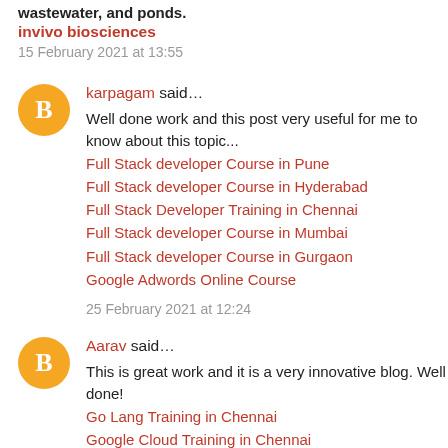wastewater, and ponds.
invivo biosciences
15 February 2021 at 13:55
karpagam said…
Well done work and this post very useful for me to know about this topic...
Full Stack developer Course in Pune
Full Stack developer Course in Hyderabad
Full Stack Developer Training in Chennai
Full Stack developer Course in Mumbai
Full Stack developer Course in Gurgaon
Google Adwords Online Course
25 February 2021 at 12:24
Aarav said…
This is great work and it is a very innovative blog. Well done!
Go Lang Training in Chennai
Google Cloud Training in Chennai
Google Cloud Online Training